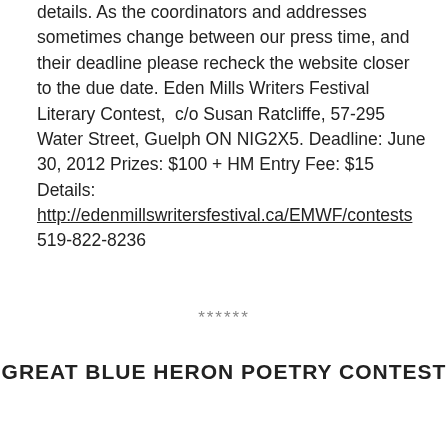details. As the coordinators and addresses sometimes change between our press time, and their deadline please recheck the website closer to the due date. Eden Mills Writers Festival Literary Contest, c/o Susan Ratcliffe, 57-295 Water Street, Guelph ON NIG2X5. Deadline: June 30, 2012 Prizes: $100 + HM Entry Fee: $15 Details: http://edenmillswritersfestival.ca/EMWF/contests 519-822-8236
******
GREAT BLUE HERON POETRY CONTEST